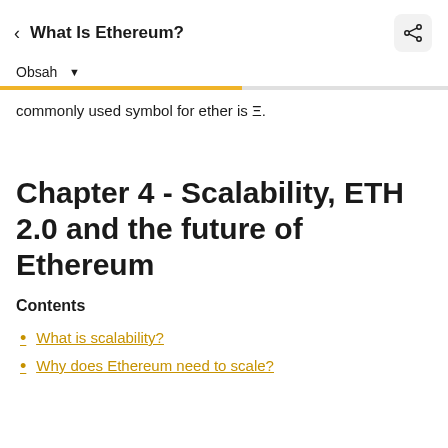< What Is Ethereum?
Obsah ▾
commonly used symbol for ether is Ξ.
Chapter 4 - Scalability, ETH 2.0 and the future of Ethereum
Contents
What is scalability?
Why does Ethereum need to scale?